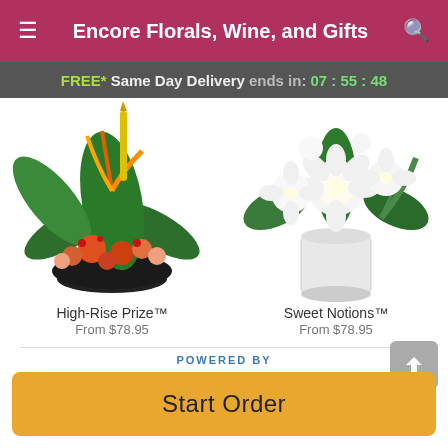Encore Florals, Wine, and Gifts
FREE* Same Day Delivery ends in: 07 : 55 : 48
[Figure (photo): Tropical flower arrangement in a dark bowl with orange bird of paradise, green leaves, and colorful blooms - High-Rise Prize]
High-Rise Prize™
From $78.95
[Figure (photo): White floral arrangement in a white cylindrical vase with white lilies and roses - Sweet Notions]
Sweet Notions™
From $78.95
POWERED BY
Start Order